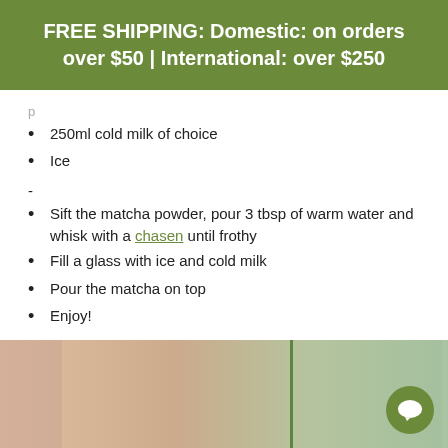FREE SHIPPING: Domestic: on orders over $50 | International: over $250
250ml cold milk of choice
Ice
-
Sift the matcha powder, pour 3 tbsp of warm water and whisk with a chasen until frothy
Fill a glass with ice and cold milk
Pour the matcha on top
Enjoy!
[Figure (photo): Photo of a drink in a glass with a green straw or plant stem, shown from the side with a blurred background]